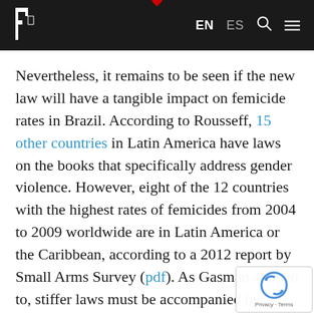EN  ES [search] [menu]
Nevertheless, it remains to be seen if the new law will have a tangible impact on femicide rates in Brazil. According to Rousseff, 15 other countries in Latin America have laws on the books that specifically address gender violence. However, eight of the 12 countries with the highest rates of femicides from 2004 to 2009 worldwide are in Latin America or the Caribbean, according to a 2012 report by Small Arms Survey (pdf). As Gasman alluded to, stiffer laws must be accompanied by adequate implementation, or else women will conti suffer high rates of victimization.